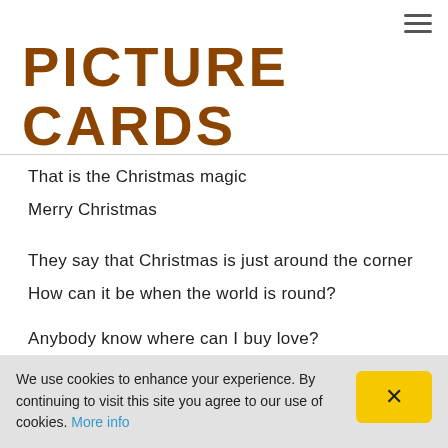PICTURE CARDS
That is the Christmas magic
Merry Christmas
They say that Christmas is just around the corner
How can it be when the world is round?
Anybody know where can I buy love?
They told me that it is the best thing to give this
We use cookies to enhance your experience. By continuing to visit this site you agree to our use of cookies. More info